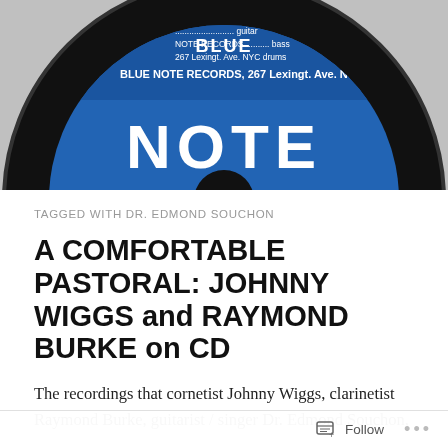[Figure (photo): Close-up photograph of a Blue Note Records vinyl record label. The label is blue and black showing 'NOTE' in large white text, with musician credits listing piano, guitar, bass, drums and address '267 Lexingt. Ave. NYC'. Artists include Catlett listed. The record is partially visible against a grey background.]
TAGGED WITH DR. EDMOND SOUCHON
A COMFORTABLE PASTORAL: JOHNNY WIGGS and RAYMOND BURKE on CD
The recordings that cornetist Johnny Wiggs, clarinetist Raymond Burke, guitarist / singer Dr. Edmond Souchon,